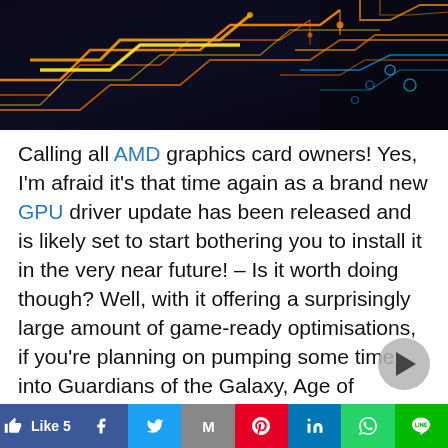[Figure (photo): Hero image showing glowing circuit board traces in orange, yellow, and blue/cyan on a dark background]
Calling all AMD graphics card owners! Yes, I'm afraid it's that time again as a brand new GPU driver update has been released and is likely set to start bothering you to install it in the very near future! – Is it worth doing though? Well, with it offering a surprisingly large amount of game-ready optimisations, if you're planning on pumping some time into Guardians of the Galaxy, Age of Empires IV, Riders Republic, or the latest Doom Eternal 6.66 patch (I see what you did there Bethesda!), then it would certainly seem to be the case!
[Figure (infographic): Social media sharing bar at the bottom with Like 5, Facebook, Twitter, Gmail, Pinterest, LinkedIn, WhatsApp, and Line buttons]